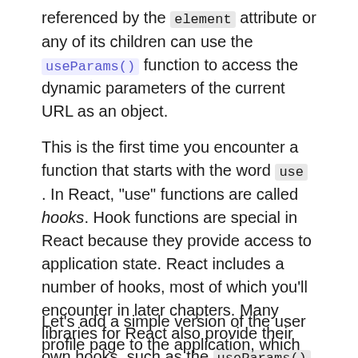referenced by the element attribute or any of its children can use the useParams() function to access the dynamic parameters of the current URL as an object.
This is the first time you encounter a function that starts with the word use . In React, "use" functions are called hooks. Hook functions are special in React because they provide access to application state. React includes a number of hooks, most of which you'll encounter in later chapters. Many libraries for React also provide their own hooks, such as the useParams() hook from React-Router. Applications can create custom hooks as well, and you will also learn about this later.
Let's add a simple version of the user profile page to the application, which for now will just show the